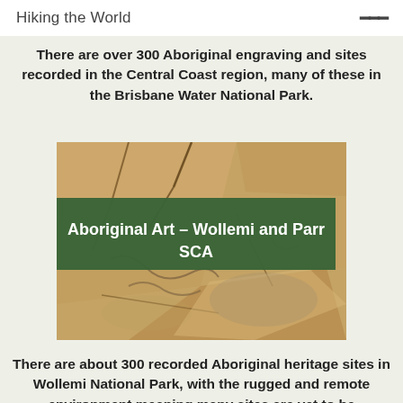Hiking the World
There are over 300 Aboriginal engraving and sites recorded in the Central Coast region, many of these in the Brisbane Water National Park.
[Figure (photo): Close-up photograph of Aboriginal rock engravings on sandstone, with a dark green banner overlay reading 'Aboriginal Art – Wollemi and Parr SCA']
There are about 300 recorded Aboriginal heritage sites in Wollemi National Park, with the rugged and remote environment meaning many sites are yet to be "discovered" and recorde